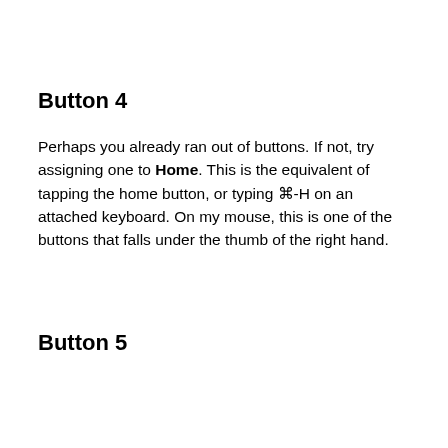Button 4
Perhaps you already ran out of buttons. If not, try assigning one to Home. This is the equivalent of tapping the home button, or typing ⌘-H on an attached keyboard. On my mouse, this is one of the buttons that falls under the thumb of the right hand.
Button 5